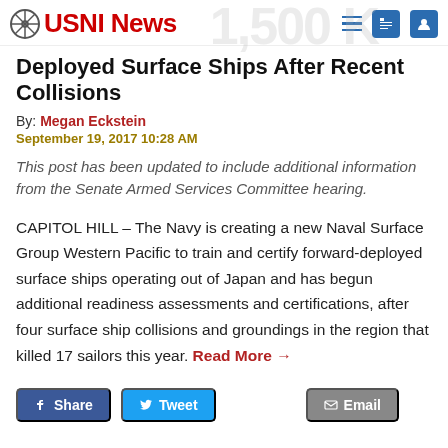USNI News
Deployed Surface Ships After Recent Collisions
By: Megan Eckstein
September 19, 2017 10:28 AM
This post has been updated to include additional information from the Senate Armed Services Committee hearing.
CAPITOL HILL – The Navy is creating a new Naval Surface Group Western Pacific to train and certify forward-deployed surface ships operating out of Japan and has begun additional readiness assessments and certifications, after four surface ship collisions and groundings in the region that killed 17 sailors this year. Read More →